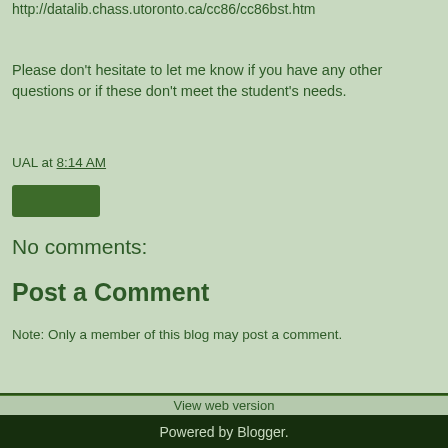http://datalib.chass.utoronto.ca/cc86/cc86bst.htm
Please don't hesitate to let me know if you have any other questions or if these don't meet the student's needs.
UAL at 8:14 AM
No comments:
Post a Comment
Note: Only a member of this blog may post a comment.
View web version
Powered by Blogger.